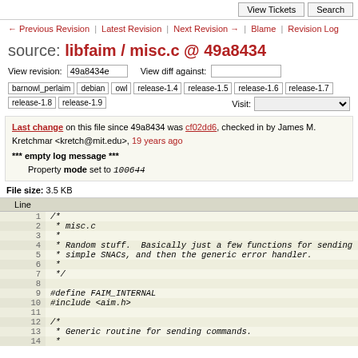View Tickets | Search
← Previous Revision | Latest Revision | Next Revision → | Blame | Revision Log
source: libfaim / misc.c @ 49a8434
View revision: 49a8434e  View diff against:
barnowl_perlaim  debian  owl  release-1.4  release-1.5  release-1.6  release-1.7  release-1.8  release-1.9  Visit:
Last change on this file since 49a8434 was cf02dd6, checked in by James M. Kretchmar <kretch@mit.edu>, 19 years ago
*** empty log message ***
Property mode set to 100644
File size: 3.5 KB
| Line |  |
| --- | --- |
| 1 | /* |
| 2 |  * misc.c |
| 3 |  * |
| 4 |  * Random stuff.  Basically just a few functions for sending |
| 5 |  * simple SNACs, and then the generic error handler. |
| 6 |  * |
| 7 |  */ |
| 8 |  |
| 9 | #define FAIM_INTERNAL |
| 10 | #include <aim.h> |
| 11 |  |
| 12 | /* |
| 13 |  * Generic routine for sending commands. |
| 14 |  * |